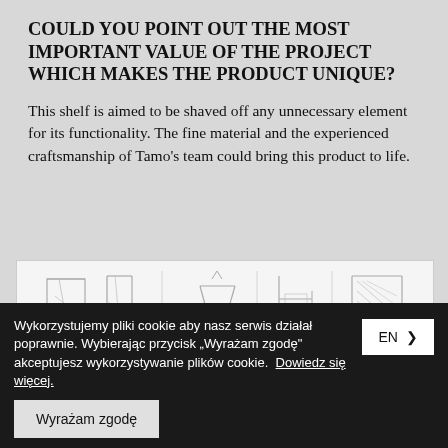COULD YOU POINT OUT THE MOST IMPORTANT VALUE OF THE PROJECT WHICH MAKES THE PRODUCT UNIQUE?
This shelf is aimed to be shaved off any unnecessary element for its functionality. The fine material and the experienced craftsmanship of Tamo’s team could bring this product to life.
[Figure (illustration): Pencil sketches of shelf/furniture designs shown from multiple angles on white background]
Wykorzystujemy pliki cookie aby nasz serwis działał poprawnie. Wybierając przycisk „Wyrażam zgodę” akceptujesz wykorzystywanie plików cookie. Dowiedz się więcej.